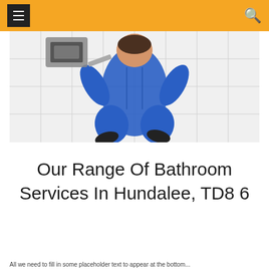☰  🔍
[Figure (photo): Overhead/top-down view of a worker in blue overalls and black shoes lying on white tiled floor, with plumbing or fixture installation equipment visible near their head.]
Our Range Of Bathroom Services In Hundalee, TD8 6
All we need to fill in some placeholder text to appear at the bottom of the page...